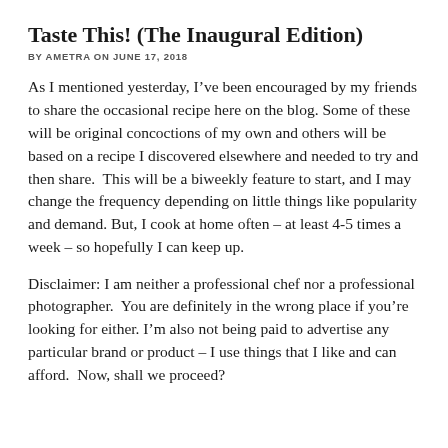Taste This! (The Inaugural Edition)
BY AMETRA ON JUNE 17, 2018
As I mentioned yesterday, I’ve been encouraged by my friends to share the occasional recipe here on the blog. Some of these will be original concoctions of my own and others will be based on a recipe I discovered elsewhere and needed to try and then share.  This will be a biweekly feature to start, and I may change the frequency depending on little things like popularity and demand. But, I cook at home often – at least 4-5 times a week – so hopefully I can keep up.
Disclaimer: I am neither a professional chef nor a professional photographer.  You are definitely in the wrong place if you’re looking for either. I’m also not being paid to advertise any particular brand or product – I use things that I like and can afford.  Now, shall we proceed?